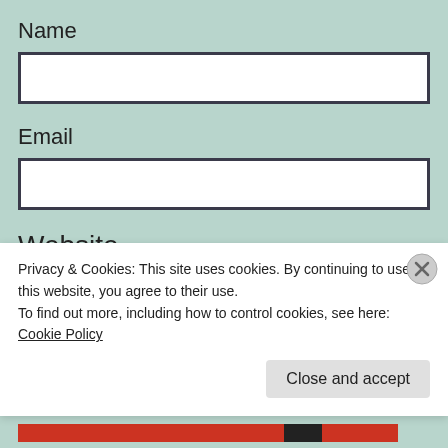Name
[Figure (other): Empty text input box for Name field]
Email
[Figure (other): Empty text input box for Email field]
Website
Privacy & Cookies: This site uses cookies. By continuing to use this website, you agree to their use. To find out more, including how to control cookies, see here: Cookie Policy
Close and accept